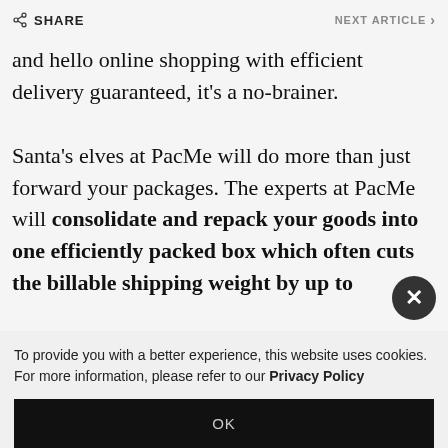SHARE   NEXT ARTICLE >
and hello online shopping with efficient delivery guaranteed, it's a no-brainer.

Santa's elves at PacMe will do more than just forward your packages. The experts at PacMe will consolidate and repack your goods into one efficiently packed box which often cuts the billable shipping weight by up to
To provide you with a better experience, this website uses cookies. For more information, please refer to our Privacy Policy
OK